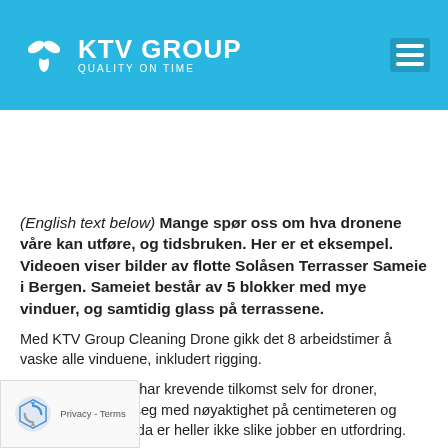KTV GROUP — QUALITY ON TIME
[Figure (other): White blank image placeholder area]
(English text below) Mange spør oss om hva dronene våre kan utføre, og tidsbruken. Her er et eksempel. Videoen viser bilder av flotte Solåsen Terrasser Sameie i Bergen. Sameiet består av 5 blokker med mye vinduer, og samtidig glass på terrassene.
Med KTV Group Cleaning Drone gikk det 8 arbeidstimer å vaske alle vinduene, inkludert rigging.
...ider av byggene har krevende tilkomst selv for droner, ...onen beveger seg med nøyaktighet på centimeteren og ...ket stabilitet, og da er heller ikke slike jobber en utfordring.